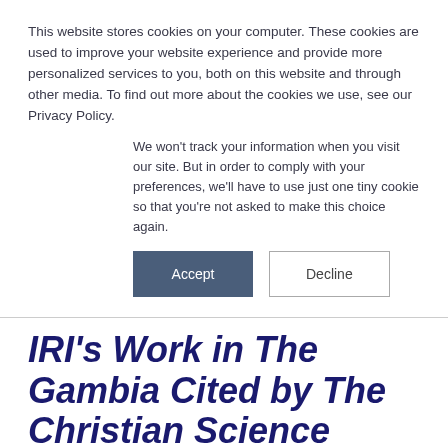This website stores cookies on your computer. These cookies are used to improve your website experience and provide more personalized services to you, both on this website and through other media. To find out more about the cookies we use, see our Privacy Policy.
We won't track your information when you visit our site. But in order to comply with your preferences, we'll have to use just one tiny cookie so that you're not asked to make this choice again.
Accept | Decline
IRI's Work in The Gambia Cited by The Christian Science Monitor
March 12, 2018
SHARE THIS ARTICLE